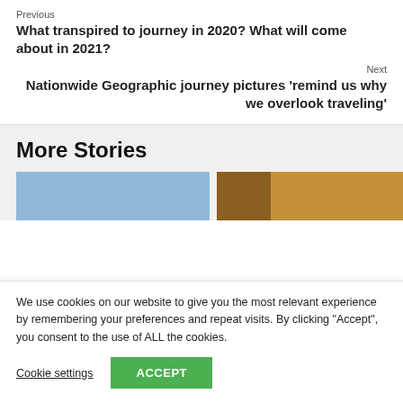Previous
What transpired to journey in 2020? What will come about in 2021?
Next
Nationwide Geographic journey pictures ‘remind us why we overlook traveling’
More Stories
[Figure (photo): Two story thumbnail images side by side: left is a blue sky background, right is a warm golden-brown toned image]
We use cookies on our website to give you the most relevant experience by remembering your preferences and repeat visits. By clicking “Accept”, you consent to the use of ALL the cookies.
Cookie settings
ACCEPT